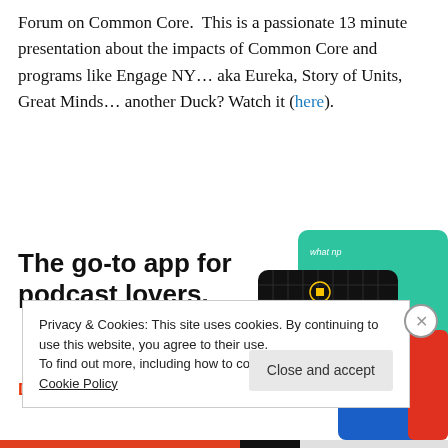Forum on Common Core.  This is a passionate 13 minute presentation about the impacts of Common Core and programs like Engage NY… aka Eureka, Story of Units, Great Minds… another Duck? Watch it (here).
[Figure (infographic): Advertisement banner: 'The go-to app for podcast lovers. Download now' with podcast app UI cards including 99% Invisible card]
Privacy & Cookies: This site uses cookies. By continuing to use this website, you agree to their use.
To find out more, including how to control cookies, see here: Cookie Policy